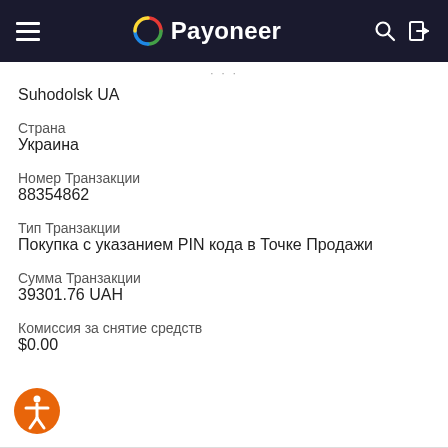Payoneer
Suhodolsk UA
Страна
Украина
Номер Транзакции
88354862
Тип Транзакции
Покупка с указанием PIN кода в Точке Продажи
Сумма Транзакции
39301.76 UAH
Комиссия за снятие средств
$0.00